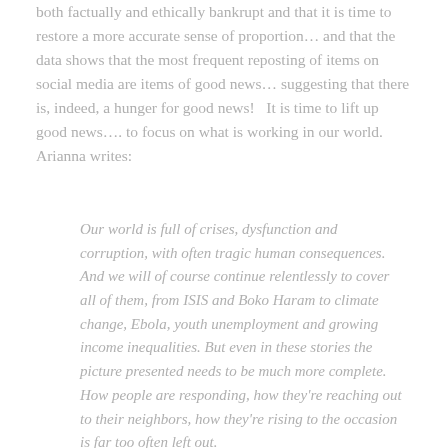both factually and ethically bankrupt and that it is time to restore a more accurate sense of proportion… and that the data shows that the most frequent reposting of items on social media are items of good news… suggesting that there is, indeed, a hunger for good news!   It is time to lift up good news…. to focus on what is working in our world. Arianna writes:
Our world is full of crises, dysfunction and corruption, with often tragic human consequences. And we will of course continue relentlessly to cover all of them, from ISIS and Boko Haram to climate change, Ebola, youth unemployment and growing income inequalities. But even in these stories the picture presented needs to be much more complete. How people are responding, how they're reaching out to their neighbors, how they're rising to the occasion is far too often left out.